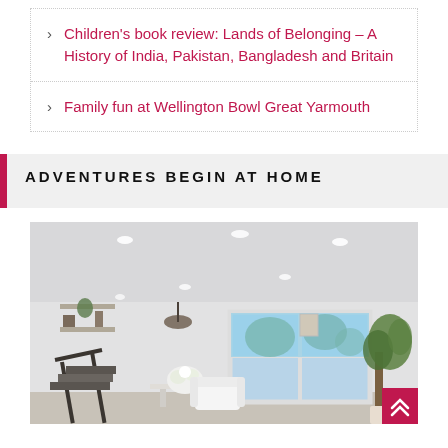Children's book review: Lands of Belonging – A History of India, Pakistan, Bangladesh and Britain
Family fun at Wellington Bowl Great Yarmouth
ADVENTURES BEGIN AT HOME
[Figure (photo): Interior of a bright, modern living room with white walls, recessed ceiling lights, a large sliding glass door showing trees outside, staircase railing on the left, a small table with flowers, white armchair, and a tall potted plant on the right.]